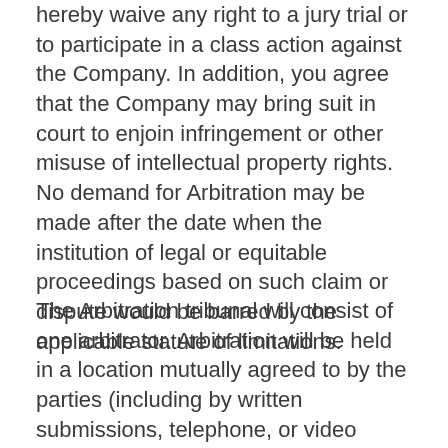hereby waive any right to a jury trial or to participate in a class action against the Company. In addition, you agree that the Company may bring suit in court to enjoin infringement or other misuse of intellectual property rights. No demand for Arbitration may be made after the date when the institution of legal or equitable proceedings based on such claim or dispute would be barred by the applicable statute of limitations.
The Arbitration tribunal will consist of one arbitrator. Arbitration will be held in a location mutually agreed to by the parties (including by written submissions, telephone, or video conference), but if the parties cannot mutually agree to the final location, then JAMS will determine the location. Moreover, you will not